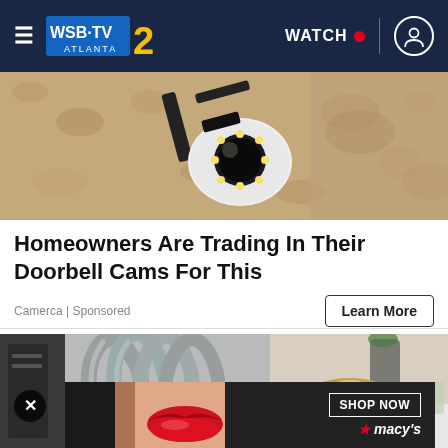WSB-TV Atlanta | WATCH
[Figure (photo): Close-up of a security camera mounted on a bracket against a textured beige wall, showing bright LED lights around the lens.]
Homeowners Are Trading In Their Doorbell Cams For This
Camerca | Sponsored
Learn More
[Figure (photo): Spa or medical aesthetic clinic scene with flexible gray hose attachments on equipment, and a smiling woman lying on a treatment bed in the background.]
[Figure (advertisement): Macy's advertisement banner: KISS BORING LIPS GOODBYE with a model with red lips, featuring a SHOP NOW button and Macy's star logo.]